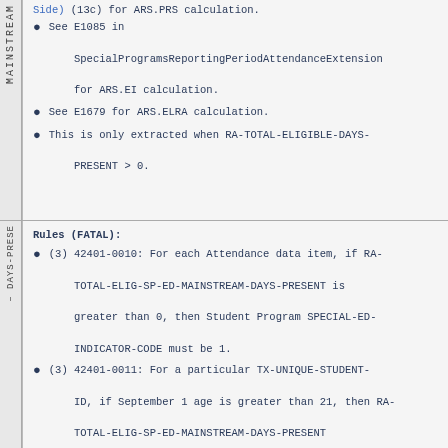Side) (13c) for ARS.PRS calculation.
See E1085 in SpecialProgramsReportingPeriodAttendanceExtension for ARS.EI calculation.
See E1679 for ARS.ELRA calculation.
This is only extracted when RA-TOTAL-ELIGIBLE-DAYS-PRESENT > 0.
Rules (FATAL):
(3) 42401-0010: For each Attendance data item, if RA-TOTAL-ELIG-SP-ED-MAINSTREAM-DAYS-PRESENT is greater than 0, then Student Program SPECIAL-ED-INDICATOR-CODE must be 1.
(3) 42401-0011: For a particular TX-UNIQUE-STUDENT-ID, if September 1 age is greater than 21, then RA-TOTAL-ELIG-SP-ED-MAINSTREAM-DAYS-PRESENT